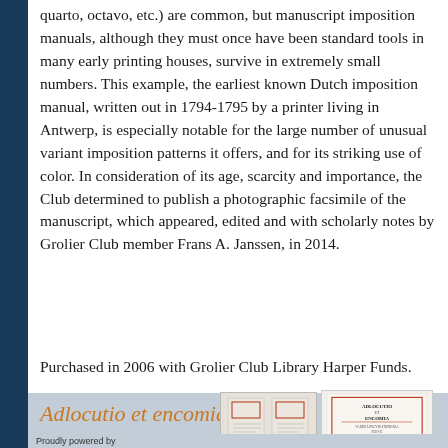quarto, octavo, etc.) are common, but manuscript imposition manuals, although they must once have been standard tools in many early printing houses, survive in extremely small numbers. This example, the earliest known Dutch imposition manual, written out in 1794-1795 by a printer living in Antwerp, is especially notable for the large number of unusual variant imposition patterns it offers, and for its striking use of color. In consideration of its age, scarcity and importance, the Club determined to publish a photographic facsimile of the manuscript, which appeared, edited and with scholarly notes by Grolier Club member Frans A. Janssen, in 2014.
Purchased in 2006 with Grolier Club Library Harper Funds.
Adlocutio et encomia variis linguis expressa,
[Figure (photo): Two book images side by side: left shows two pale books with red-bordered labels, right shows a white book titled ADLOCUTIO ENCOMIA with decorative text layout on cover]
Proudly powered by